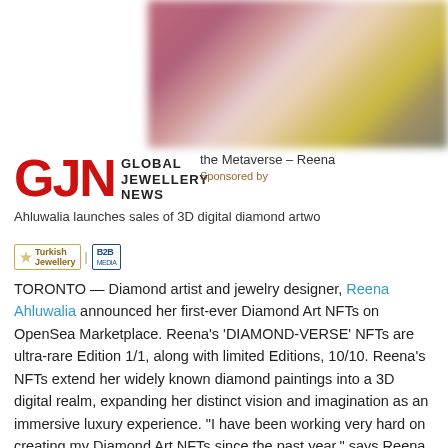[Figure (photo): Blurred colorful abstract image, likely a close-up of diamond art with red/pink and yellow/gold tones]
[Figure (logo): GJN Global Jewellery News logo in red letters with stacked text]
the Metaverse – Reena Ahluwalia launches sales of 3D digital diamond artwo
Sponsored by
[Figure (logo): Turkish Jewellery and B2B sponsor logos]
TORONTO — Diamond artist and jewelry designer, Reena Ahluwalia announced her first-ever Diamond Art NFTs on OpenSea Marketplace. Reena's 'DIAMOND-VERSE' NFTs are ultra-rare Edition 1/1, along with limited Editions, 10/10. Reena's NFTs extend her widely known diamond paintings into a 3D digital realm, expanding her distinct vision and imagination as an immersive luxury experience. "I have been working very hard on creating my Diamond Art NFTs since the past year," says Reena. "The NFT digital revolution has exploded, it's like an artistic renaissance on a scale we have never seen before."